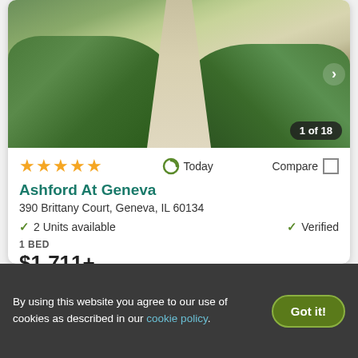[Figure (photo): Exterior photo of Ashford At Geneva apartment property showing a concrete walkway leading to the entrance, surrounded by green shrubs and landscaping. Counter shows '1 of 18'.]
★★★★★ Today  Compare □
Ashford At Geneva
390 Brittany Court, Geneva, IL 60134
✓ 2 Units available    ✓ Verified
1 BED
$1,711+
View Details   Contact Property
By using this website you agree to our use of cookies as described in our cookie policy.